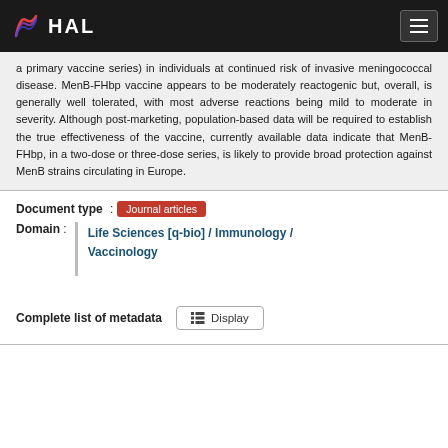HAL
a primary vaccine series) in individuals at continued risk of invasive meningococcal disease. MenB-FHbp vaccine appears to be moderately reactogenic but, overall, is generally well tolerated, with most adverse reactions being mild to moderate in severity. Although post-marketing, population-based data will be required to establish the true effectiveness of the vaccine, currently available data indicate that MenB-FHbp, in a two-dose or three-dose series, is likely to provide broad protection against MenB strains circulating in Europe.
Document type : Journal articles
Domain : Life Sciences [q-bio] / Immunology / Vaccinology
Complete list of metadata Display